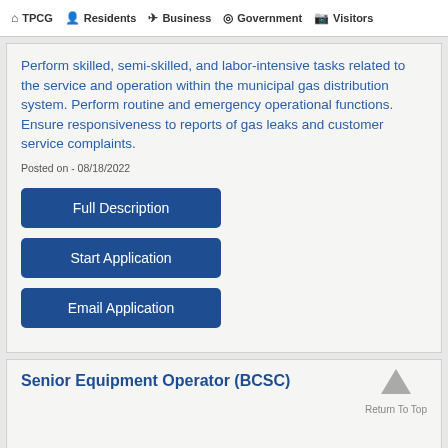TPCG   Residents   Business   Government   Visitors
Perform skilled, semi-skilled, and labor-intensive tasks related to the service and operation within the municipal gas distribution system. Perform routine and emergency operational functions. Ensure responsiveness to reports of gas leaks and customer service complaints.
Posted on - 08/18/2022
Full Description
Start Application
Email Application
Senior Equipment Operator (BCSC)